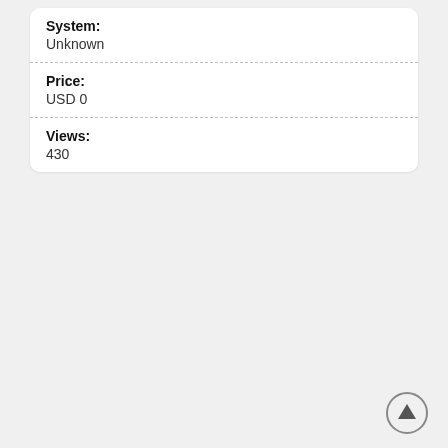System: Unknown
Price: USD 0
Views: 430
[Figure (other): Back to top arrow button icon — a circular grey button with an upward-pointing arrow]